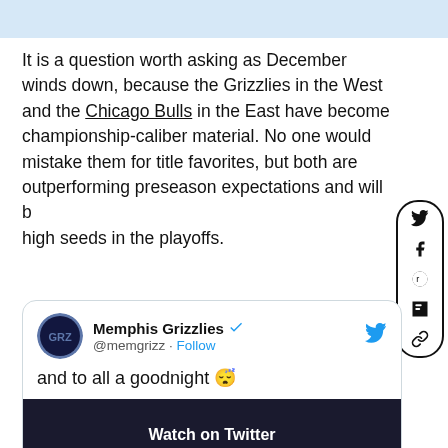[Figure (other): Light blue top bar decorative element]
It is a question worth asking as December winds down, because the Grizzlies in the West and the Chicago Bulls in the East have become championship-caliber material. No one would mistake them for title favorites, but both are outperforming preseason expectations and will be high seeds in the playoffs.
[Figure (infographic): Social media sharing sidebar with Twitter, Facebook, Reddit, Flipboard, and link icons in a pill-shaped border]
[Figure (screenshot): Embedded tweet from Memphis Grizzlies (@memgrizz) with verified badge, Follow button, tweet text 'and to all a goodnight 😴', and a Watch on Twitter video preview]